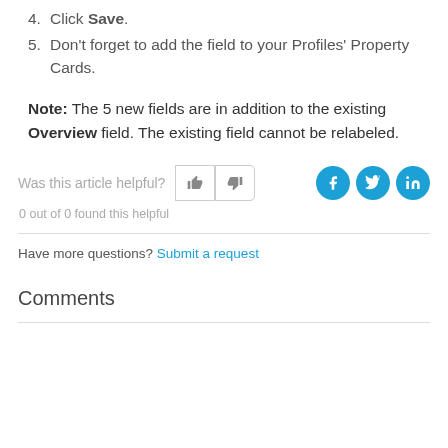4. Click Save.
5. Don't forget to add the field to your Profiles' Property Cards.
Note: The 5 new fields are in addition to the existing Overview field. The existing field cannot be relabeled.
Was this article helpful?
0 out of 0 found this helpful
Have more questions? Submit a request
Comments